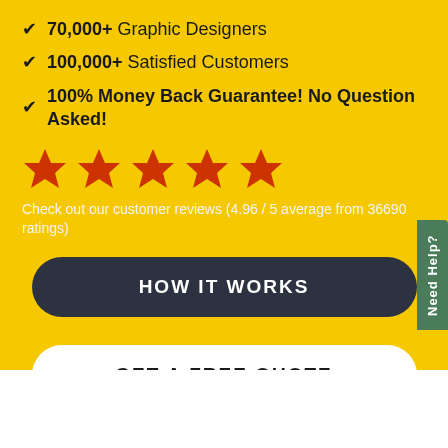✔ 70,000+ Graphic Designers
✔ 100,000+ Satisfied Customers
✔ 100% Money Back Guarantee! No Question Asked!
[Figure (infographic): Five orange/red star rating icons in a row]
Check out our customer reviews (4.96 / 5 average from 36690 ratings)
HOW IT WORKS
GET A FREE QUOTE